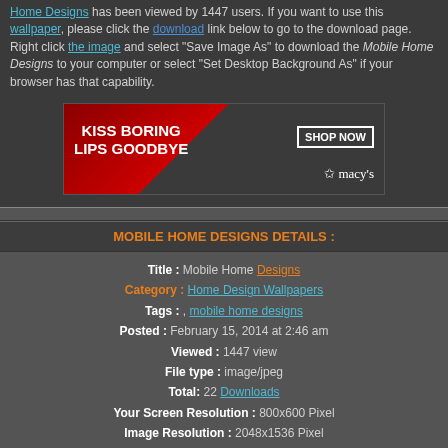Home Designs has been viewed by 1447 users. If you want to use this wallpaper, please click the download link below to go to the download page. Right click the image and select "Save Image As" to download the Mobile Home Designs to your computer or select "Set Desktop Background As" if your browser has that capability.
[Figure (photo): Macy's advertisement banner: Kiss Boring Lips Goodbye - Shop Now]
MOBILE HOME DESIGNS DETAILS :
| Title : | Mobile Home Designs |
| Category : | Home Design Wallpapers |
| Tags : | , mobile home designs |
| Posted : | February 15, 2014 at 2:46 am |
| Viewed : | 1447 view |
| File type : | image/jpeg |
| Total: | 22 Downloads |
| Your Screen Resolution : | 800x600 Pixel |
| Image Resolution : | 2048x1536 Pixel |
| Download : | Click Here |
[Figure (illustration): Winter village scene with snow-covered buildings, church tower, trees, and a bird in the foreground]